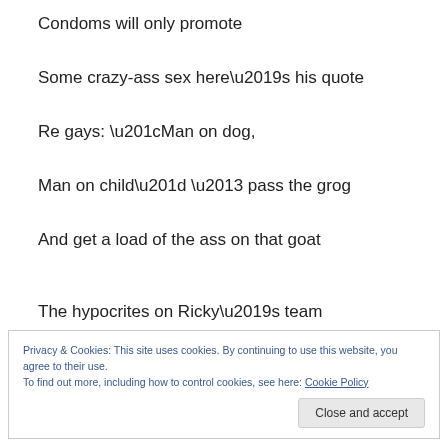Condoms will only promote
Some crazy-ass sex here’s his quote
Re gays: “Man on dog,
Man on child” – pass the grog
And get a load of the ass on that goat
The hypocrites on Ricky’s team
Privacy & Cookies: This site uses cookies. By continuing to use this website, you agree to their use.
To find out more, including how to control cookies, see here: Cookie Policy
Close and accept